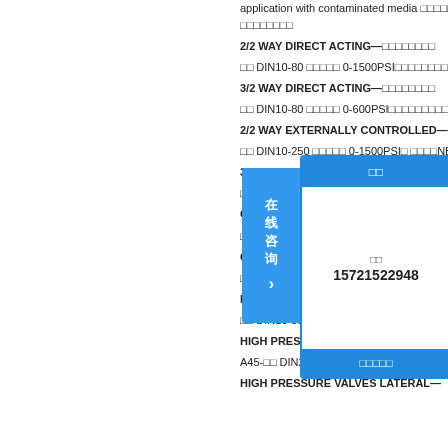application with contaminated media □□□□□□□□□□□□□□
2/2 WAY DIRECT ACTING—□□□□□□□□
□□ DIN10-80 □□□□□ 0-1500PSI□□□□□□□□□IP65□□
3/2 WAY DIRECT ACTING—□□□□□□□□
□□ DIN10-80 □□□□□ 0-600PSI□□□□□□□□□IP65□□
2/2 WAY EXTERNALLY CONTROLLED—
□□ DIN10-250 □□□□□ 0-1500PSI□ □□□□NBR、PT
3/2 WAY□□□□
□□ DIN10-
CERTIF□□
□□ DIN15-
CARTRIDGE
□□ DIN10-15 □
LATERAL VA□
□□ DIN15-50 □
HIGH PRESS□
A45-□□ DIN2-6 □□□□□□ 0-1950PSI□ KB-□□ DIN
HIGH PRESSURE VALVES LATERAL—